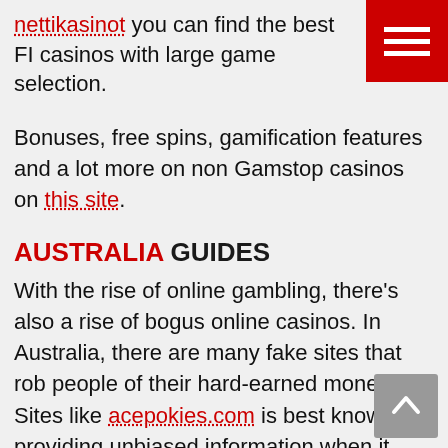nettikasinot you can find the best FI casinos with large game selection.
Bonuses, free spins, gamification features and a lot more on non Gamstop casinos on this site.
AUSTRALIA GUIDES
With the rise of online gambling, there's also a rise of bogus online casinos. In Australia, there are many fake sites that rob people of their hard-earned money. Sites like acepokies.com is best known for providing unbiased information when it comes to casino reviews.
CANADA GUIDES
If you are looking for the best slots and live dealer action for Canadian players then you should c...